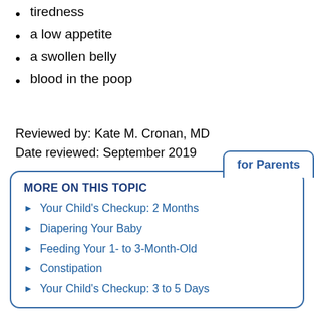tiredness
a low appetite
a swollen belly
blood in the poop
Reviewed by: Kate M. Cronan, MD
Date reviewed: September 2019
for Parents
MORE ON THIS TOPIC
Your Child's Checkup: 2 Months
Diapering Your Baby
Feeding Your 1- to 3-Month-Old
Constipation
Your Child's Checkup: 3 to 5 Days